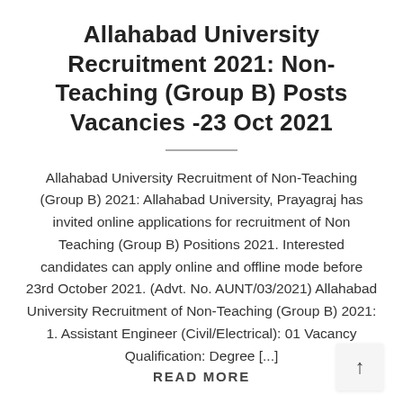Allahabad University Recruitment 2021: Non-Teaching (Group B) Posts Vacancies -23 Oct 2021
Allahabad University Recruitment of Non-Teaching (Group B) 2021: Allahabad University, Prayagraj has invited online applications for recruitment of Non Teaching (Group B) Positions 2021. Interested candidates can apply online and offline mode before 23rd October 2021. (Advt. No. AUNT/03/2021) Allahabad University Recruitment of Non-Teaching (Group B) 2021: 1. Assistant Engineer (Civil/Electrical): 01 Vacancy Qualification: Degree [...]
READ MORE